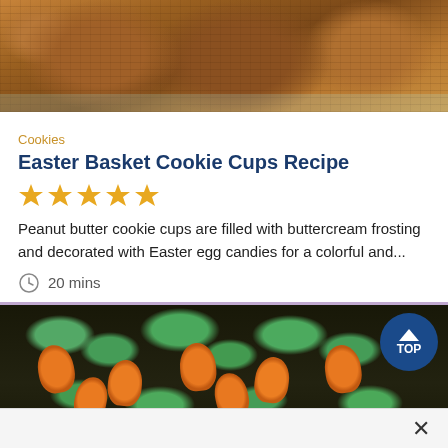[Figure (photo): Close-up photo of peanut butter cookie cups with caramel/nut filling in a muffin tin]
Cookies
Easter Basket Cookie Cups Recipe
[Figure (other): 5 gold star rating icons]
Peanut butter cookie cups are filled with buttercream frosting and decorated with Easter egg candies for a colorful and...
20 mins
[Figure (photo): Carrot-shaped cupcakes decorated with orange frosting and green tops arranged in a dark chocolate dirt cake in a rectangular lavender-bordered pan, with a TOP badge overlay]
×